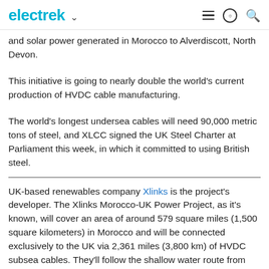electrek
and solar power generated in Morocco to Alverdiscott, North Devon.
This initiative is going to nearly double the world's current production of HVDC cable manufacturing.
The world's longest undersea cables will need 90,000 metric tons of steel, and XLCC signed the UK Steel Charter at Parliament this week, in which it committed to using British steel.
UK-based renewables company Xlinks is the project's developer. The Xlinks Morocco-UK Power Project, as it's known, will cover an area of around 579 square miles (1,500 square kilometers) in Morocco and will be connected exclusively to the UK via 2,361 miles (3,800 km) of HVDC subsea cables. They'll follow the shallow water route from Morocco to the UK past Spain, Portugal and France